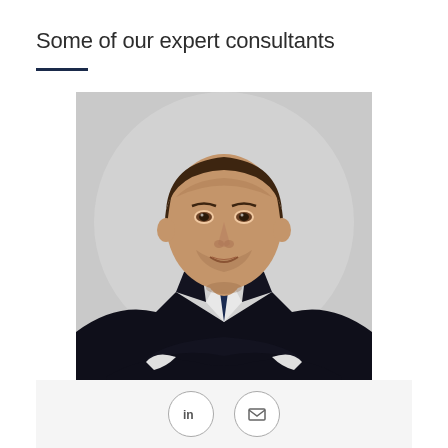Some of our expert consultants
[Figure (photo): Professional headshot of a man in a dark suit and navy tie with arms crossed, against a light grey background]
[Figure (infographic): Card footer with LinkedIn icon circle and email icon circle]